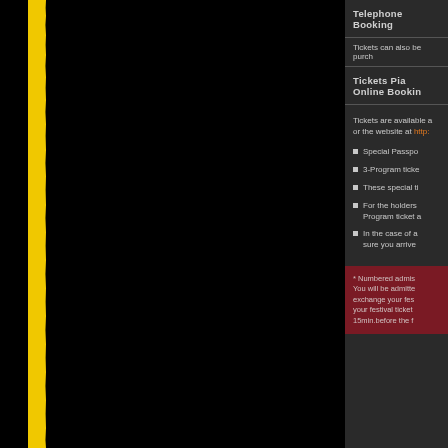Telephone Booking
Tickets can also be purchased
Tickets Pia Online Booking
Tickets are available at or the website at http:
Special Passpo
3-Program ticke
These special ti
For the holders Program ticket a
In the case of a sure you arrive
* Numbered admis You will be admitted exchange your fes your festival ticket 15min.before the f